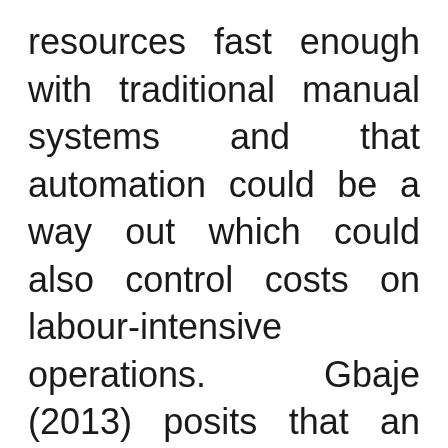resources fast enough with traditional manual systems and that automation could be a way out which could also control costs on labour-intensive operations. Gbaje (2013) posits that an automated library is one where a computer system is used to manage one or